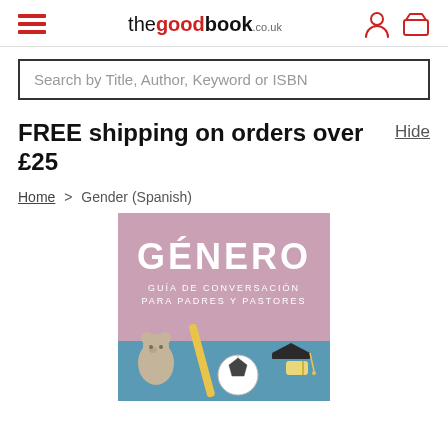thegoodbook.co.uk — navigation header with hamburger menu, logo, user icon, basket icon
Search by Title, Author, Keyword or ISBN
FREE shipping on orders over £25    Hide
Home > Gender (Spanish)
[Figure (photo): Book cover for 'Género: Guía de conversación para padres y pastores' — pink and blue background with a teddy bear, baseball bat, soccer ball, and graduation cap with diploma.]